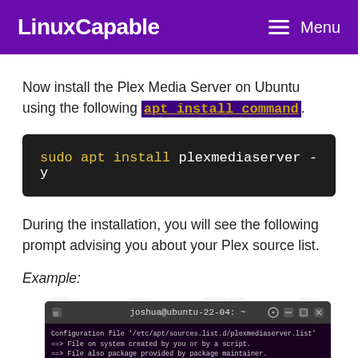LinuxCapable   Menu
Now install the Plex Media Server on Ubuntu using the following apt install command.
sudo apt install plexmediaserver -y
During the installation, you will see the following prompt advising you about your Plex source list.
Example:
[Figure (screenshot): Terminal window showing Ubuntu installation prompt for Plex Media Server configuration file with options for handling /etc/apt/sources.list.d/plexmediaserver.list]